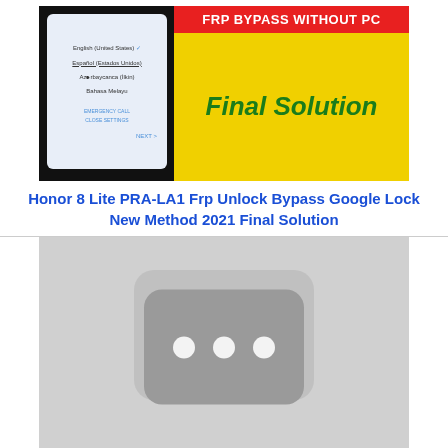[Figure (screenshot): YouTube video thumbnail showing: left side - smartphone screen with language selection menu (English United States checked, Español Estados Unidos United, Azərbaycanca Dilimi, Bahasa Melayu, EMERGENCY CALL, CLOSE SETTINGS, NEXT button); right side - red banner text 'FRP BYPASS WITHOUT PC' above yellow background with green italic bold text 'Final Solution']
Honor 8 Lite PRA-LA1 Frp Unlock Bypass Google Lock New Method 2021 Final Solution
[Figure (screenshot): YouTube video thumbnail placeholder showing a light gray background with a darker gray rounded-rectangle YouTube play button icon containing three white dots in the center]